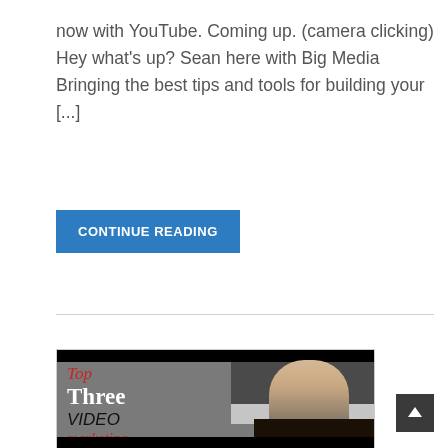now with YouTube. Coming up. (camera clicking) Hey what's up? Sean here with Big Media Bringing the best tips and tools for building your [...]
CONTINUE READING
[Figure (screenshot): Video thumbnail showing a blonde woman with text overlay reading 'Top Three VIDEO marketing TRENDS']